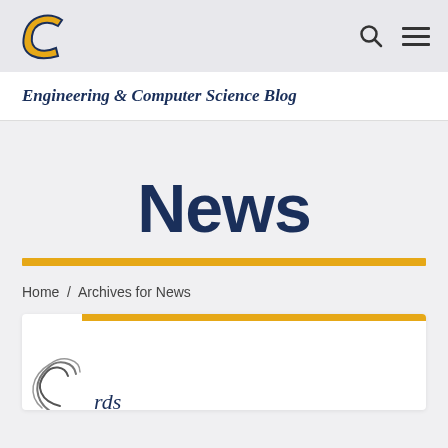Engineering & Computer Science Blog
News
Home / Archives for News
[Figure (logo): University logo C in gold and navy, with navigation icons (search, hamburger menu)]